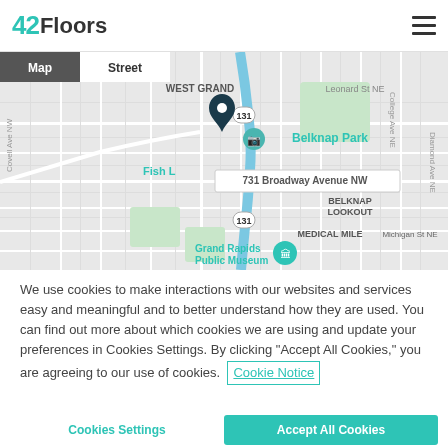[Figure (logo): 42Floors logo with teal 42 and dark Floors text]
[Figure (map): Street map showing Grand Rapids area with marker at 731 Broadway Avenue NW, showing Belknap Park, MEDICAL MILE, Grand Rapids Public Museum, West Grand label, and route 131. Map/Street toggle buttons at top left.]
We use cookies to make interactions with our websites and services easy and meaningful and to better understand how they are used. You can find out more about which cookies we are using and update your preferences in Cookies Settings. By clicking “Accept All Cookies,” you are agreeing to our use of cookies.  Cookie Notice
Cookies Settings
Accept All Cookies